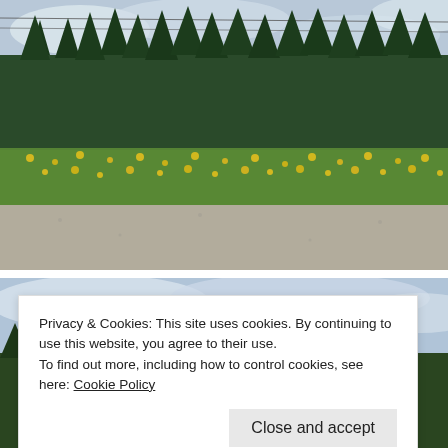[Figure (photo): Roadside scene with tall evergreen trees in the background, yellow wildflowers and green grass in the middle ground, and a gravel road in the foreground. Cloudy sky visible above the trees.]
[Figure (photo): Partially visible second photo showing a cloudy sky at the top, partially obscured by the cookie consent banner.]
Privacy & Cookies: This site uses cookies. By continuing to use this website, you agree to their use.
To find out more, including how to control cookies, see here: Cookie Policy